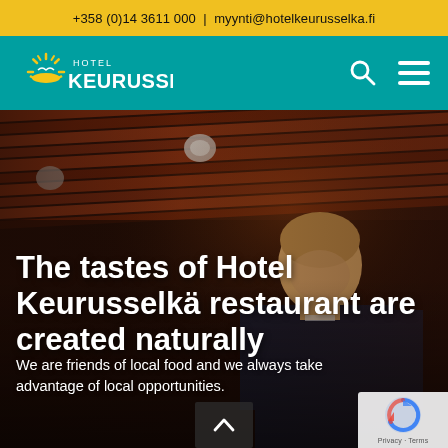+358 (0)14 3611 000 | myynti@hotelkeurusselka.fi
[Figure (logo): Hotel Keurusselkä logo with sun/horizon icon on teal navigation bar with search and menu icons]
[Figure (photo): Photo of a chef/staff member in a dark shirt looking down, in a restaurant with a wooden slatted ceiling and warm lighting]
The tastes of Hotel Keurusselkä restaurant are created naturally
We are friends of local food and we always take advantage of local opportunities.